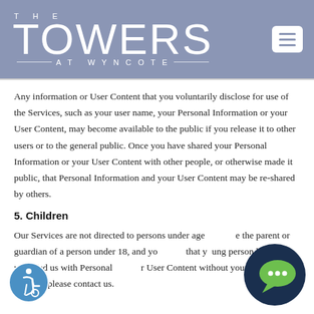THE TOWERS AT WYNCOTE
Any information or User Content that you voluntarily disclose for use of the Services, such as your user name, your Personal Information or your User Content, may become available to the public if you release it to other users or to the general public. Once you have shared your Personal Information or your User Content with other people, or otherwise made it public, that Personal Information and your User Content may be re-shared by others.
5. Children
Our Services are not directed to persons under age 18. If you are the parent or guardian of a person under 18, and you believe that young person has provided us with Personal Information or User Content without your express consent, please contact us.
[Figure (logo): Accessibility icon — a person in wheelchair symbol in a blue circle]
[Figure (logo): Chat bubble icon — dark navy circle with green speech bubble and ellipsis]